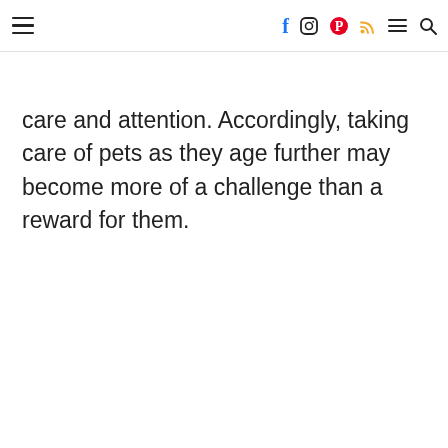≡ [navigation icons: Facebook, Instagram, Pinterest, RSS, Menu, Search]
care and attention. Accordingly, taking care of pets as they age further may become more of a challenge than a reward for them.